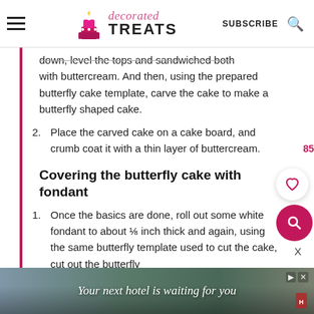decorated TREATS | SUBSCRIBE
down, level the tops and sandwiched both with buttercream. And then, using the prepared butterfly cake template, carve the cake to make a butterfly shaped cake.
2. Place the carved cake on a cake board, and crumb coat it with a thin layer of buttercream.
Covering the butterfly cake with fondant
1. Once the basics are done, roll out some white fondant to about ⅛ inch thick and again, using the same butterfly template used to cut the cake, cut out the butterfly
[Figure (other): Advertisement banner: Your next hotel is waiting for you]